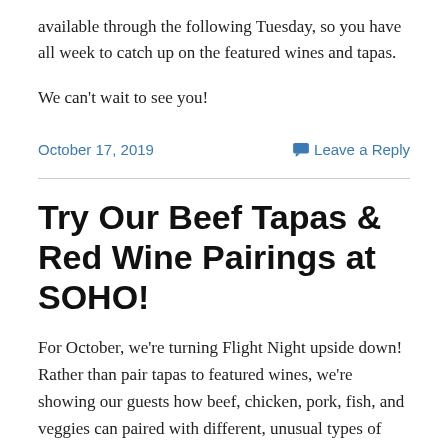available through the following Tuesday, so you have all week to catch up on the featured wines and tapas.
We can’t wait to see you!
October 17, 2019
Leave a Reply
Try Our Beef Tapas & Red Wine Pairings at SOHO!
For October, we’re turning Flight Night upside down! Rather than pair tapas to featured wines, we’re showing our guests how beef, chicken, pork, fish, and veggies can paired with different, unusual types of wine.  And this week: BEEF….It’s what’s for Flight Night! Let’s enjoy this fall weather (finally!) with some savory beef tapas &